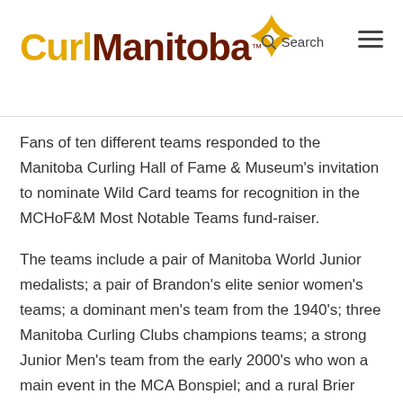CurlManitoba
Fans of ten different teams responded to the Manitoba Curling Hall of Fame & Museum's invitation to nominate Wild Card teams for recognition in the MCHoF&M Most Notable Teams fund-raiser.
The teams include a pair of Manitoba World Junior medalists; a pair of Brandon's elite senior women's teams; a dominant men's team from the 1940's; three Manitoba Curling Clubs champions teams; a strong Junior Men's team from the early 2000's who won a main event in the MCA Bonspiel; and a rural Brier team rep who won a southwest Manitoba community's only Manitoba title.
Over $1,400 was donated in recognition of the ten teams as